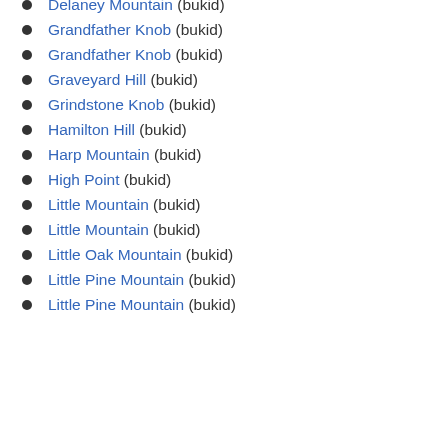Delaney Mountain (bukid)
Grandfather Knob (bukid)
Grandfather Knob (bukid)
Graveyard Hill (bukid)
Grindstone Knob (bukid)
Hamilton Hill (bukid)
Harp Mountain (bukid)
High Point (bukid)
Little Mountain (bukid)
Little Mountain (bukid)
Little Oak Mountain (bukid)
Little Pine Mountain (bukid)
Little Pine Mountain (bukid)